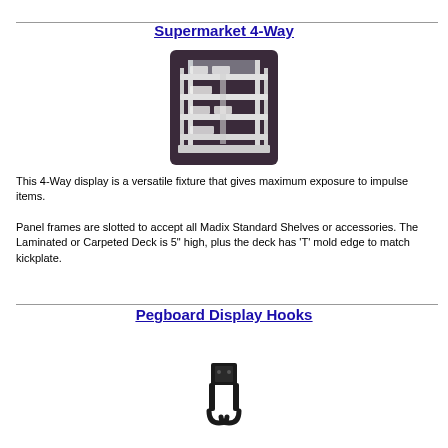Supermarket 4-Way
[Figure (photo): White metal 4-way display shelf unit with multiple shelves on a dark background]
This 4-Way display is a versatile fixture that gives maximum exposure to impulse items.
Panel frames are slotted to accept all Madix Standard Shelves or accessories. The Laminated or Carpeted Deck is 5" high, plus the deck has 'T' mold edge to match kickplate.
Pegboard Display Hooks
[Figure (photo): Metal pegboard display hooks in a U-shape configuration]